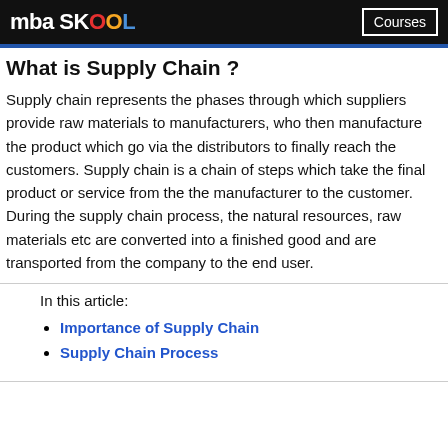mba SKOOL  Courses
What is Supply Chain ?
Supply chain represents the phases through which suppliers provide raw materials to manufacturers, who then manufacture the product which go via the distributors to finally reach the customers. Supply chain is a chain of steps which take the final product or service from the the manufacturer to the customer. During the supply chain process, the natural resources, raw materials etc are converted into a finished good and are transported from the company to the end user.
In this article:
Importance of Supply Chain
Supply Chain Process